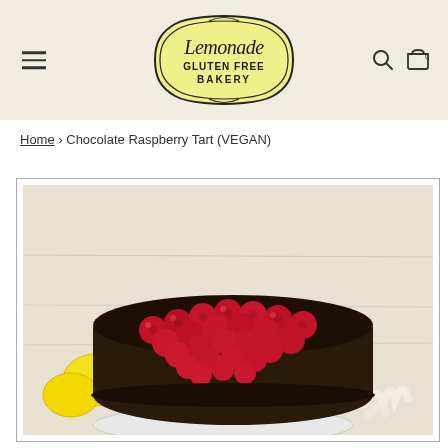[Figure (logo): Lemonade Gluten Free Bakery logo — yellow shield/plaque shape with script 'Lemonade' text and 'GLUTEN FREE BAKERY' in block letters beneath]
Home › Chocolate Raspberry Tart (VEGAN)
[Figure (photo): Chocolate Raspberry Tart topped with fresh red raspberries piled high on a dark chocolate crust, shown on a white plate with lemons and cream in the background]